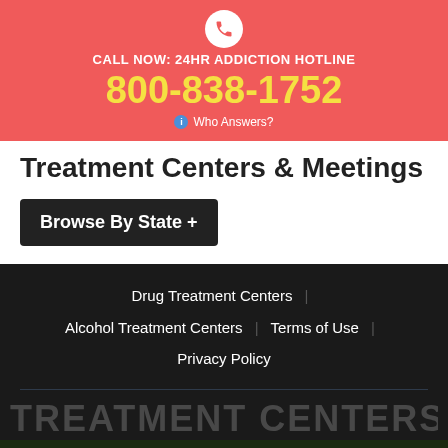CALL NOW: 24HR ADDICTION HOTLINE 800-838-1752 Who Answers?
Treatment Centers & Meetings
Browse By State +
Drug Treatment Centers | Alcohol Treatment Centers | Terms of Use | Privacy Policy
TREATMENT CENTERS
I NEED TO TALK TO SOMEONE NOW  Who Answers?